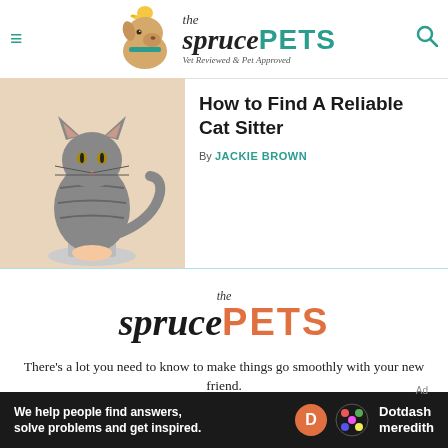the spruce PETS — Vet Reviewed & Pet Approved
[Figure (screenshot): The Spruce Pets website header with hamburger menu, dog with yellow bird logo, site name and tagline, and search icon]
[Figure (photo): A tabby cat sitting upright on a small platform, photographed against a neutral background]
How to Find A Reliable Cat Sitter
By JACKIE BROWN
[Figure (logo): The Spruce Pets logo large centered — 'the spruce PETS' with PETS in orange/coral]
There's a lot you need to know to make things go smoothly with your new friend.
[Figure (infographic): Dotdash Meredith ad banner: 'We help people find answers, solve problems and get inspired.' with D logo and Dotdash Meredith branding]